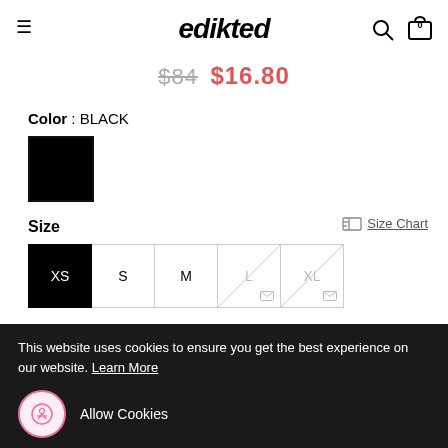edikted
$84  $16.80
Color : BLACK
[Figure (other): Black color swatch square]
Size
Size Chart
XS  S  M  L  XL
ADD TO BAG
This website uses cookies to ensure you get the best experience on our website. Learn More
Allow Cookies